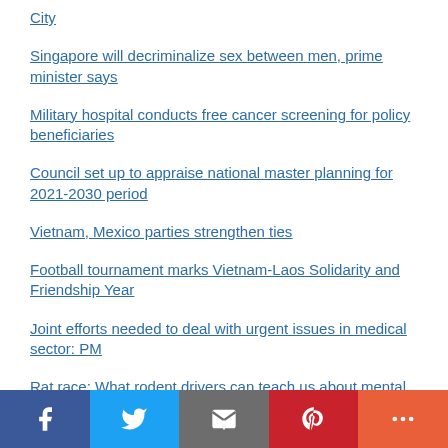City
Singapore will decriminalize sex between men, prime minister says
Military hospital conducts free cancer screening for policy beneficiaries
Council set up to appraise national master planning for 2021-2030 period
Vietnam, Mexico parties strengthen ties
Football tournament marks Vietnam-Laos Solidarity and Friendship Year
Joint efforts needed to deal with urgent issues in medical sector: PM
Rat race: What rodent drivers can teach us about mental health
Facebook | Twitter | Email | Pinterest | More